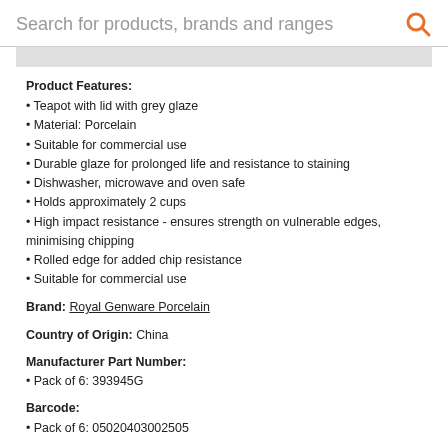Search for products, brands and ranges
Product Features:
Teapot with lid with grey glaze
Material: Porcelain
Suitable for commercial use
Durable glaze for prolonged life and resistance to staining
Dishwasher, microwave and oven safe
Holds approximately 2 cups
High impact resistance - ensures strength on vulnerable edges, minimising chipping
Rolled edge for added chip resistance
Suitable for commercial use
Brand: Royal Genware Porcelain
Country of Origin: China
Manufacturer Part Number:
Pack of 6: 393945G
Barcode:
Pack of 6: 05020403002505